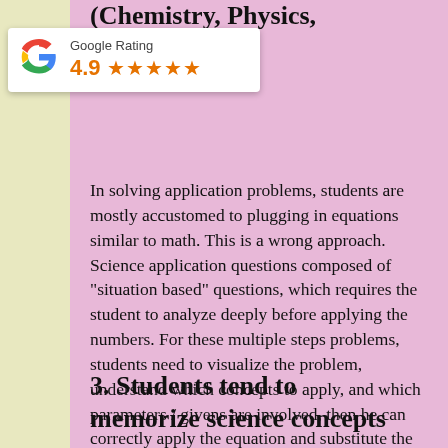(Chemistry, Physics,
[Figure (logo): Google Rating badge showing 4.9 stars out of 5]
In solving application problems, students are mostly accustomed to plugging in equations similar to math. This is a wrong approach. Science application questions composed of “situation based” questions, which requires the student to analyze deeply before applying the numbers. For these multiple steps problems, students need to visualize the problem, understand which concepts to apply, and which parameters / givens are involved, then he can correctly apply the equation and substitute the numbers. We teach this approach on our chemistry and physics programs with outstanding success on the students.
3. Students tend to memorize science concepts